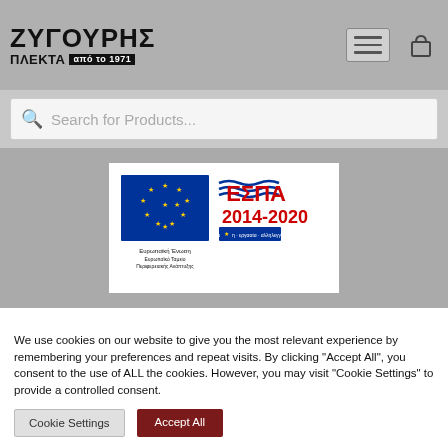ΖΥΓΟΥΡΗΣ ΠΛΕΚΤΑ από το 1971
Search for Products...
[Figure (logo): ΕΣΠΑ 2014-2020 EU structural funds banner with European Union flag and text: Ευρωπαϊκή Ένωση, Ευρωπαϊκό Ταμείο Περιφερειακής Ανάπτυξης]
We use cookies on our website to give you the most relevant experience by remembering your preferences and repeat visits. By clicking "Accept All", you consent to the use of ALL the cookies. However, you may visit "Cookie Settings" to provide a controlled consent.
Cookie Settings
Accept All